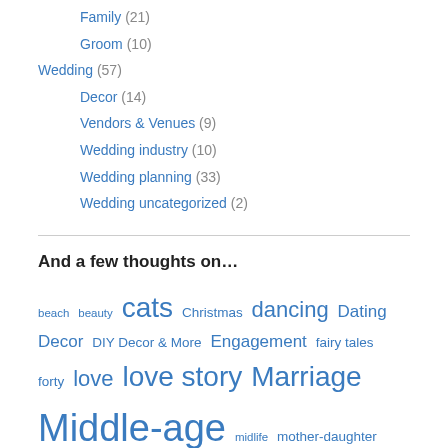Family (21)
Groom (10)
Wedding (57)
Decor (14)
Vendors & Venues (9)
Wedding industry (10)
Wedding planning (33)
Wedding uncategorized (2)
And a few thoughts on…
beach beauty cats Christmas dancing Dating Decor DIY Decor & More Engagement fairy tales forty love love story Marriage Middle-age midlife mother-daughter relationship Nature Our Love Story proposal upcycling Wedding wedding decor Wedding planning